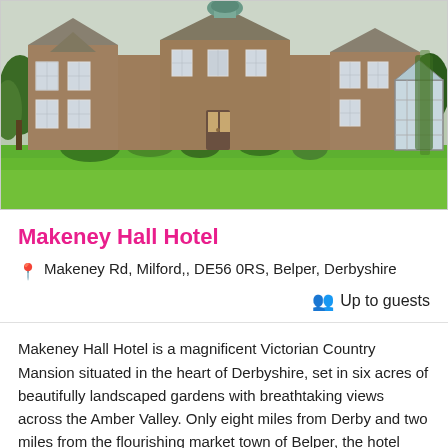[Figure (photo): Exterior photo of Makeney Hall Hotel, a large Victorian stone country mansion with multiple gables, white-framed windows, and a green conservatory on the right, set against a green lawn and garden with trees in the background.]
Makeney Hall Hotel
📍 Makeney Rd, Milford,, DE56 0RS, Belper, Derbyshire
👥 Up to guests
Makeney Hall Hotel is a magnificent Victorian Country Mansion situated in the heart of Derbyshire, set in six acres of beautifully landscaped gardens with breathtaking views across the Amber Valley. Only eight miles from Derby and two miles from the flourishing market town of Belper, the hotel enjo